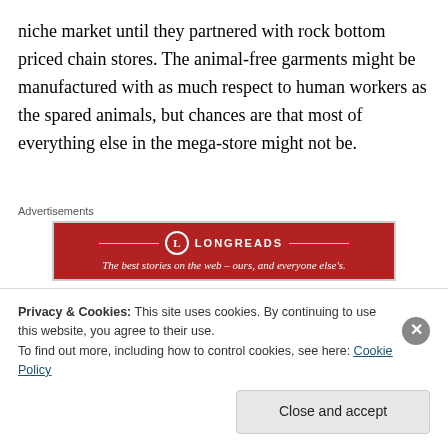niche market until they partnered with rock bottom priced chain stores. The animal-free garments might be manufactured with as much respect to human workers as the spared animals, but chances are that most of everything else in the mega-store might not be.
Advertisements
[Figure (other): Longreads advertisement banner: red background with Longreads logo and tagline 'The best stories on the web – ours, and everyone else's.']
Cheap goods, food, and cars cost. They cost someone somewhere, sometimes with loss of jobs and towns and
Privacy & Cookies: This site uses cookies. By continuing to use this website, you agree to their use.
To find out more, including how to control cookies, see here: Cookie Policy